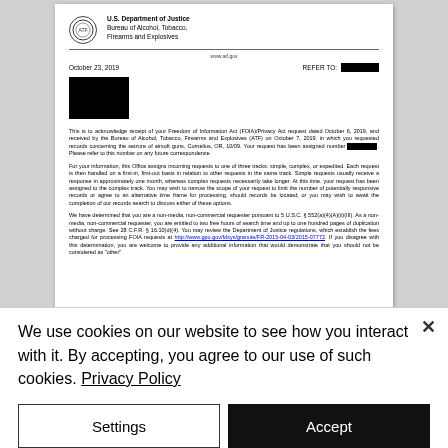U.S. Department of Justice
Bureau of Alcohol, Tobacco, Firearms and Explosives
www.atf.gov
October 23, 2019
REFER TO: [REDACTED]
[REDACTED ADDRESS BLOCK]
This is to acknowledge receipt of your Freedom of Information Act (FOIA)/Privacy Act request dated October 6, 2019, and received by the Bureau of Alcohol, Tobacco, Firearms and Explosives (ATF) on October 7, 2019, in which you requested records concerning the seizure of airsoft guns, Cornelius, OR, 10/09. Your request has been assigned number [REDACTED]. Please refer to this number on any future correspondence.
For your information, this Office assigns incoming requests to one of three tracks: simple, complex, or expedited. Each request is then handled on a first-in, first-out basis in relation to other requests in the same track. Simple requests usually receive a response in approximately one month, whereas complex requests necessarily take longer. At this time, your request has been assigned to the complex track. You may wish to narrow the scope of your request to limit the number of potentially responsive records or agree to an alternative time frame for processing, should records be located; or you may wish to await the completion of our records search to discuss either of these options.
We have determined that you are a non-media, non-commercial requester pursuant to 5 U.S.C. § 552(a)(4)(A)(ii)(III). As a non-media, non-commercial requester, you are entitled to two free hours of search time and up to one hundred pages of duplication without charge. See 28 C.F.R. § 16.10(d)(4). You may review the Department of Justice regulations, which establish the fees charged for processing FOIA requests at http://www.gpo.gov/fdsys/granule/FR-2015-04-03/2015-07772. If you disagree with this determination, you are welcome to provide any additional information that would demonstrate that you should not be considered as "other"
We use cookies on our website to see how you interact with it. By accepting, you agree to our use of such cookies. Privacy Policy
Settings
Accept